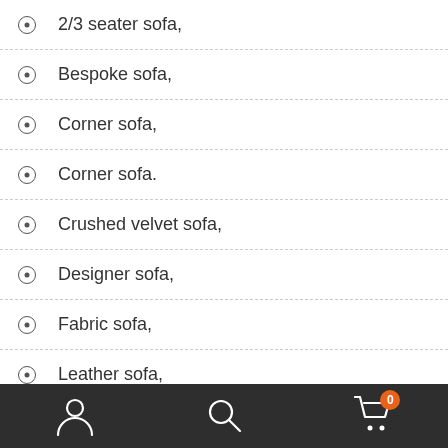2/3 seater sofa,
Bespoke sofa,
Corner sofa,
Corner sofa.
Crushed velvet sofa,
Designer sofa,
Fabric sofa,
Leather sofa,
Recliner Sofas,
Navigation bar with user, search, and cart (0) icons